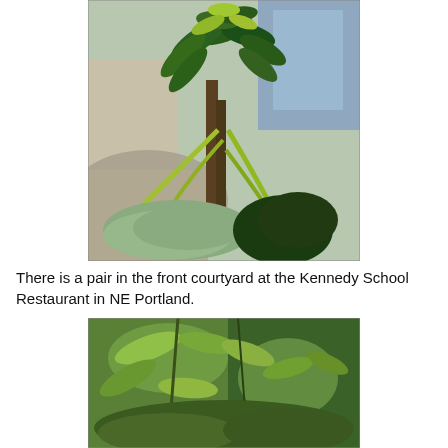[Figure (photo): A tropical plant with large dark green leaves in an outdoor courtyard setting, with brick pavement and building entrance visible in background. Lower portion shows silvery-green mounding plants.]
There is a pair in the front courtyard at the Kennedy School Restaurant in NE Portland.
[Figure (photo): Close-up view of a tree or shrub with green leaves and surrounding foliage in an outdoor garden setting.]